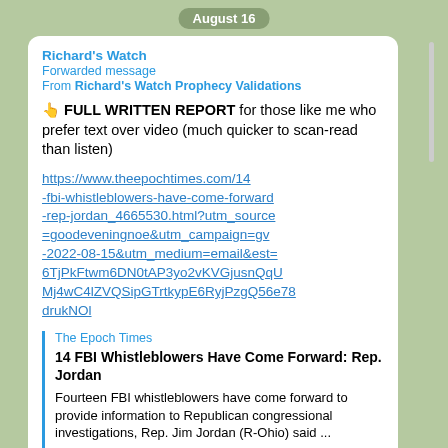August 16
Richard's Watch
Forwarded message
From Richard's Watch Prophecy Validations
👆 FULL WRITTEN REPORT for those like me who prefer text over video (much quicker to scan-read than listen)
https://www.theepochtimes.com/14-fbi-whistleblowers-have-come-forward-rep-jordan_4665530.html?utm_source=goodeveningnoe&utm_campaign=gv-2022-08-15&utm_medium=email&est=6TjPkFtwm6DN0tAP3yo2vKVGjusnQqUMj4wC4lZVQSipGTrtkypE6RyjPzgQ56e78drukNOl
The Epoch Times
14 FBI Whistleblowers Have Come Forward: Rep. Jordan
Fourteen FBI whistleblowers have come forward to provide information to Republican congressional investigations, Rep. Jim Jordan (R-Ohio) said ...